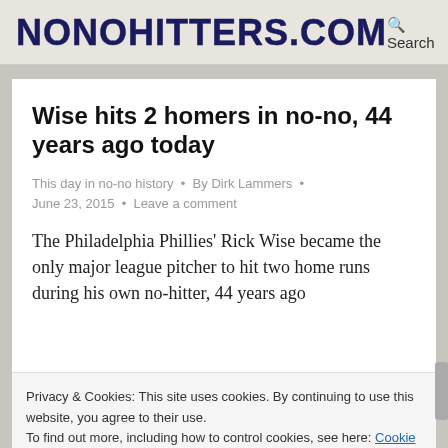NONOHITTERS.COM
Wise hits 2 homers in no-no, 44 years ago today
This day in no-no history · By Dirk Lammers · June 23, 2015 · Leave a comment
The Philadelphia Phillies' Rick Wise became the only major league pitcher to hit two home runs during his own no-hitter, 44 years ago
Privacy & Cookies: This site uses cookies. By continuing to use this website, you agree to their use.
To find out more, including how to control cookies, see here: Cookie Policy